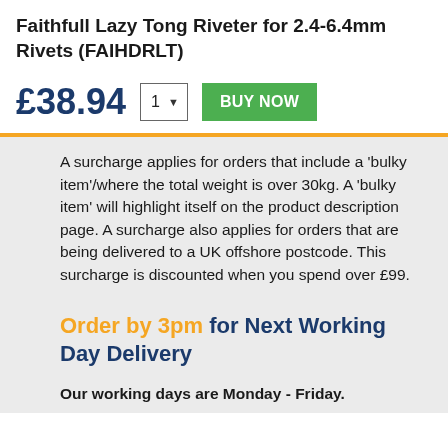Faithfull Lazy Tong Riveter for 2.4-6.4mm Rivets (FAIHDRLT)
£38.94
A surcharge applies for orders that include a 'bulky item'/where the total weight is over 30kg. A 'bulky item' will highlight itself on the product description page. A surcharge also applies for orders that are being delivered to a UK offshore postcode. This surcharge is discounted when you spend over £99.
Order by 3pm for Next Working Day Delivery
Our working days are Monday - Friday.